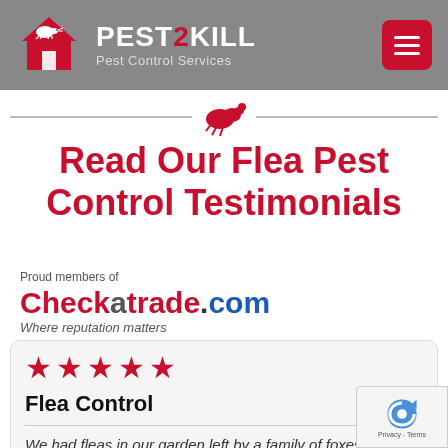[Figure (logo): Pest2Kill Pest Control Services header logo with red house icon and grey background, hamburger menu button top right]
[Figure (illustration): Red flea silhouette icon centered between two horizontal divider lines]
Read Our Flea Pest Control Testimonials
[Figure (logo): Checkatrade.com logo with text 'Proud members of' above and 'Where reputation matters' below]
★★★★★ Flea Control We had fleas in our garden left by a family of foxes. We spent a fortune on products from the internet to try to eradicate them but nothing